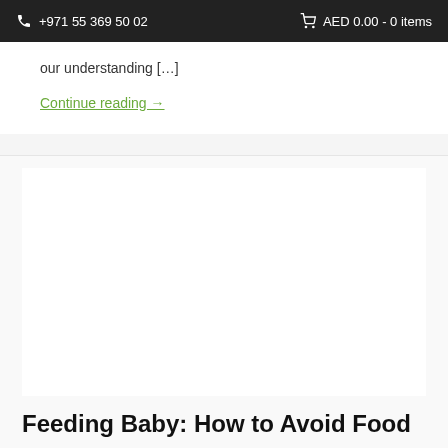+971 55 369 50 02   AED 0.00 - 0 items
our understanding […]
Continue reading →
[Figure (photo): Article image placeholder (white/blank area)]
Feeding Baby: How to Avoid Food